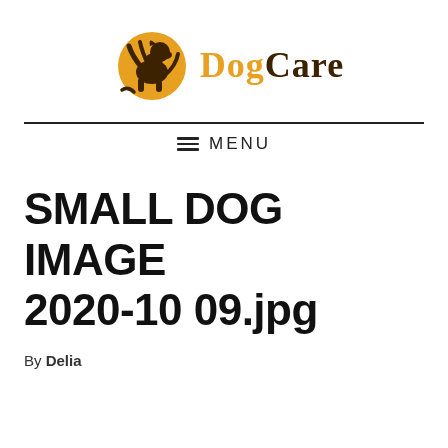Dog Care
[Figure (logo): Dog Care logo: golden circle with dark dog silhouette on left, text 'Dog' in orange and 'Care' in dark brown on right]
≡  MENU
SMALL DOG IMAGE 2020-10 09.jpg
By Delia